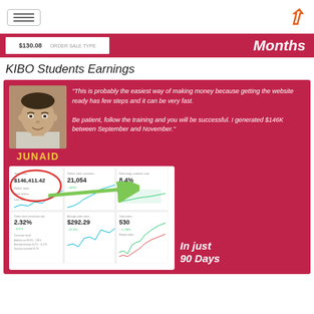☰  [logo A]
[Figure (screenshot): Top banner showing '$130.08' value and 'Months' text on red background]
KIBO Students Earnings
[Figure (infographic): Red card with photo of Junaid, quote about easiest way of making money, $146K earnings between September and November, dashboard screenshot showing $146,411.42 total sales, 21,054 online store sessions, 8.4% returning customer rate, 2.32% online store conversion rate, $292.29 average order value, 530 total orders, in just 90 Days annotation]
"This is probably the easiest way of making money because getting the website ready has few steps and it can be very fast. Be patient, follow the training and you will be successful. I generated $146K between September and November."
JUNAID
In just 90 Days